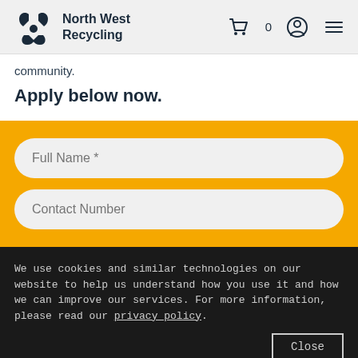North West Recycling
community.
Apply below now.
Full Name *
Contact Number
We use cookies and similar technologies on our website to help us understand how you use it and how we can improve our services. For more information, please read our privacy policy.
Close